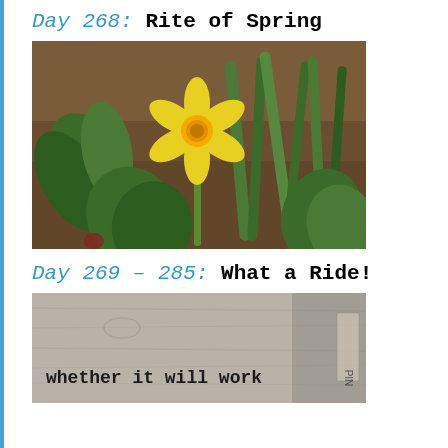Day 268: Rite of Spring
[Figure (photo): Photograph of spring garden with a blooming yellow daffodil surrounded by green tulip leaves and other plants in dark soil]
Day 269 – 285: What a Ride!
[Figure (photo): Photograph of a weathered wooden surface with text reading 'whether it will work' in monospace font, with a ruler or scale visible on the right side]